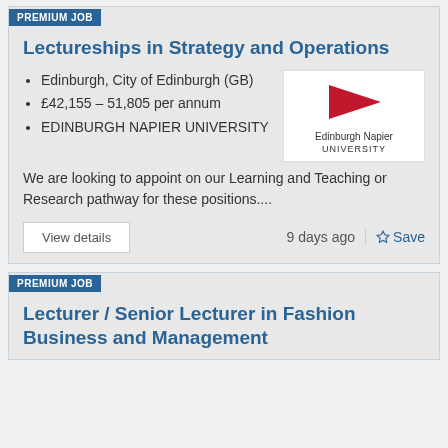PREMIUM JOB
Lectureships in Strategy and Operations
Edinburgh, City of Edinburgh (GB)
£42,155 – 51,805 per annum
EDINBURGH NAPIER UNIVERSITY
[Figure (logo): Edinburgh Napier University logo with red triangle/arrow shape and text]
We are looking to appoint on our Learning and Teaching or Research pathway for these positions....
View details
9 days ago
Save
PREMIUM JOB
Lecturer / Senior Lecturer in Fashion Business and Management